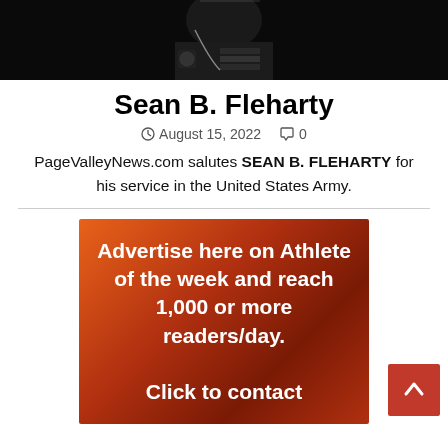[Figure (photo): Black and white photo of a person in military uniform, cropped to show upper body]
Sean B. Fleharty
© August 15, 2022   💬 0
PageValleyNews.com salutes SEAN B. FLEHARTY for his service in the United States Army.
[Figure (infographic): Orange/red gradient advertisement banner reading: Advertise here on Athlete of the week and reach 1,000 or more readers/day. Click to contact]